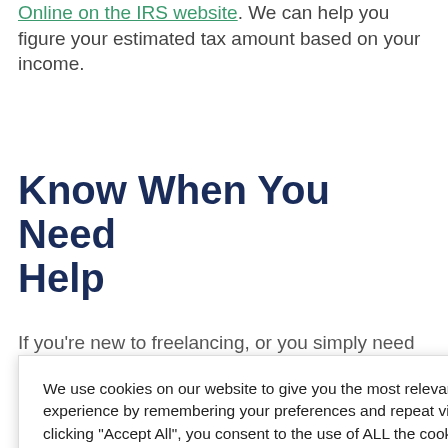Online on the IRS website. We can help you figure your estimated tax amount based on your income.
Know When You Need Help
If you're new to freelancing, or you simply need ... of your ... for a free ... get ... as painless ... our passion. ... with tax ... ork through ... oney. We want you to be prepared for the impact of your
We use cookies on our website to give you the most relevant experience by remembering your preferences and repeat visits. By clicking "Accept All", you consent to the use of ALL the cookies. However, you may visit "Cookie Settings" to provide a controlled consent.